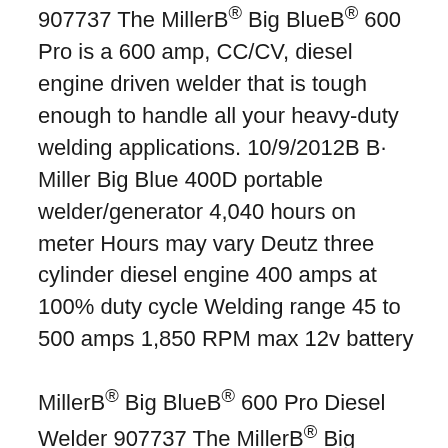907737 The MillerB® Big BlueB® 600 Pro is a 600 amp, CC/CV, diesel engine driven welder that is tough enough to handle all your heavy-duty welding applications. 10/9/2012B B· Miller Big Blue 400D portable welder/generator 4,040 hours on meter Hours may vary Deutz three cylinder diesel engine 400 amps at 100% duty cycle Welding range 45 to 500 amps 1,850 RPM max 12v battery
MillerB® Big BlueB® 600 Pro Diesel Welder 907737 The MillerB® Big BlueB® 600 Pro is a 600 amp, CC/CV, diesel engine driven welder that is tough enough to handle all your heavy-duty welding applications. hobart mega-arc 400d owners & parts manual spec # 6429-1 , 6429-2 , 642905 , 6429a-1 , 6429a-2 manuals are reprints